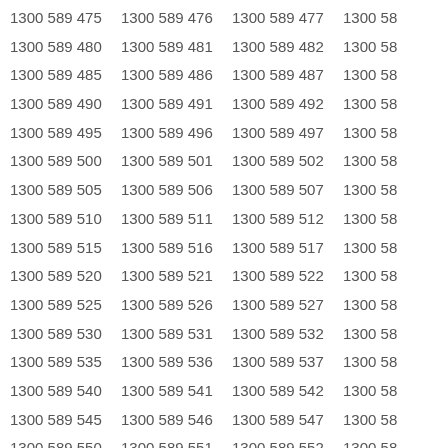| 1300 589 475 | 1300 589 476 | 1300 589 477 | 1300 58… |
| 1300 589 480 | 1300 589 481 | 1300 589 482 | 1300 58… |
| 1300 589 485 | 1300 589 486 | 1300 589 487 | 1300 58… |
| 1300 589 490 | 1300 589 491 | 1300 589 492 | 1300 58… |
| 1300 589 495 | 1300 589 496 | 1300 589 497 | 1300 58… |
| 1300 589 500 | 1300 589 501 | 1300 589 502 | 1300 58… |
| 1300 589 505 | 1300 589 506 | 1300 589 507 | 1300 58… |
| 1300 589 510 | 1300 589 511 | 1300 589 512 | 1300 58… |
| 1300 589 515 | 1300 589 516 | 1300 589 517 | 1300 58… |
| 1300 589 520 | 1300 589 521 | 1300 589 522 | 1300 58… |
| 1300 589 525 | 1300 589 526 | 1300 589 527 | 1300 58… |
| 1300 589 530 | 1300 589 531 | 1300 589 532 | 1300 58… |
| 1300 589 535 | 1300 589 536 | 1300 589 537 | 1300 58… |
| 1300 589 540 | 1300 589 541 | 1300 589 542 | 1300 58… |
| 1300 589 545 | 1300 589 546 | 1300 589 547 | 1300 58… |
| 1300 589 550 | 1300 589 551 | 1300 589 552 | 1300 58… |
| 1300 589 555 | 1300 589 556 | 1300 589 557 | 1300 58… |
| 1300 589 560 | 1300 589 561 | 1300 589 562 | 1300 58… |
| 1300 589 565 | 1300 589 566 | 1300 589 567 | 1300 58… |
| 1300 589 570 | 1300 589 571 | 1300 589 572 | 1300 58… |
| 1300 589 575 | 1300 589 576 | 1300 589 577 | 1300 58… |
| 1300 589 580 | 1300 589 581 | 1300 589 582 | 1300 58… |
| 1300 589 585 | 1300 589 586 | 1300 589 587 | 1300 58… |
| 1300 589 590 | 1300 589 591 | 1300 589 592 | 1300 58… |